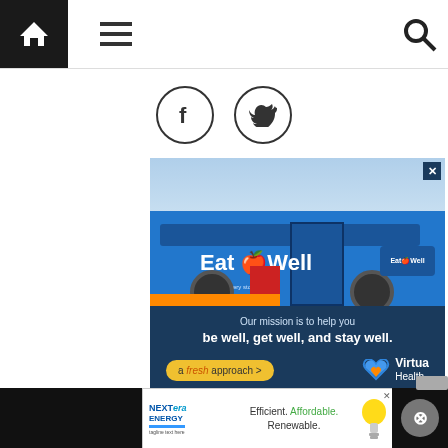[Figure (screenshot): Website navigation bar with home icon, hamburger menu, and search icon]
[Figure (screenshot): Social media sharing icons: Facebook (f) and Twitter (bird) in circular outlines]
[Figure (photo): Advertisement: Virtua Health Eat Well mobile grocery store bus with text 'Our mission is to help you be well, get well, and stay well.' and 'a fresh approach >' with Virtua Health logo]
[Figure (photo): Advertisement: NextEra Energy - 'Efficient. Affordable. Renewable.' with light bulb image]